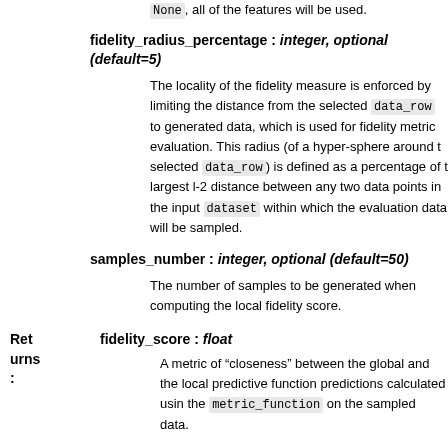None, all of the features will be used.
fidelity_radius_percentage : integer, optional (default=5)
The locality of the fidelity measure is enforced by limiting the distance from the selected data_row to generated data, which is used for fidelity metric evaluation. This radius (of a hyper-sphere around the selected data_row) is defined as a percentage of the largest l-2 distance between any two data points in the input dataset within which the evaluation data will be sampled.
samples_number : integer, optional (default=50)
The number of samples to be generated when computing the local fidelity score.
fidelity_score : float
Returns:
A metric of “closeness” between the global and the local predictive function predictions calculated using the metric_function on the sampled data.